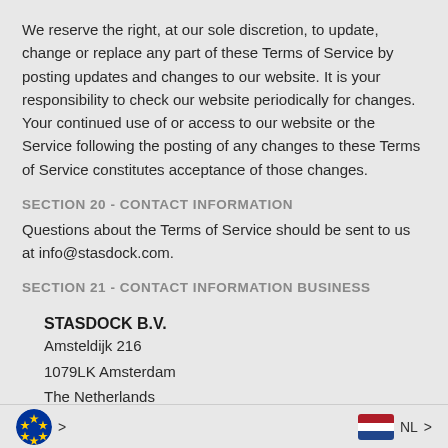We reserve the right, at our sole discretion, to update, change or replace any part of these Terms of Service by posting updates and changes to our website. It is your responsibility to check our website periodically for changes. Your continued use of or access to our website or the Service following the posting of any changes to these Terms of Service constitutes acceptance of those changes.
SECTION 20 - CONTACT INFORMATION
Questions about the Terms of Service should be sent to us at info@stasdock.com.
SECTION 21 - CONTACT INFORMATION BUSINESS
STASDOCK B.V.
Amsteldijk 216
1079LK Amsterdam
The Netherlands